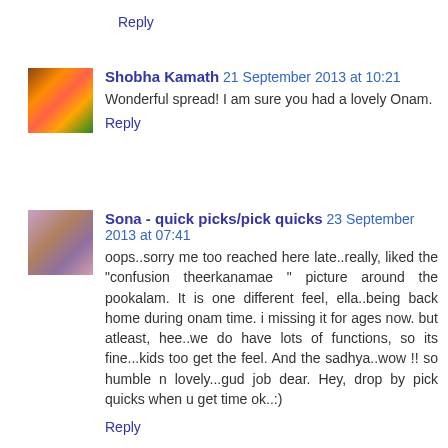Reply
Shobha Kamath 21 September 2013 at 10:21
Wonderful spread! I am sure you had a lovely Onam.
Reply
Sona - quick picks/pick quicks 23 September 2013 at 07:41
oops..sorry me too reached here late..really, liked the "confusion theerkanamae " picture around the pookalam. It is one different feel, ella..being back home during onam time. i missing it for ages now. but atleast, hee..we do have lots of functions, so its fine...kids too get the feel. And the sadhya..wow !! so humble n lovely...gud job dear. Hey, drop by pick quicks when u get time ok..:)
Reply